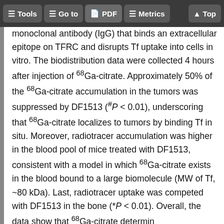Tools | Go to | PDF | Metrics | Top
monoclonal antibody (IgG) that binds an extracellular epitope on TFRC and disrupts Tf uptake into cells in vitro. The biodistribution data were collected 4 hours after injection of 68Ga-citrate. Approximately 50% of the 68Ga-citrate accumulation in the tumors was suppressed by DF1513 (#P < 0.01), underscoring that 68Ga-citrate localizes to tumors by binding Tf in situ. Moreover, radiotracer accumulation was higher in the blood pool of mice treated with DF1513, consistent with a model in which 68Ga-citrate exists in the blood bound to a large biomolecule (MW of Tf, ~80 kDa). Last, radiotracer uptake was competed with DF1513 in the bone (*P < 0.01). Overall, the data show that 68Ga-citrate determines